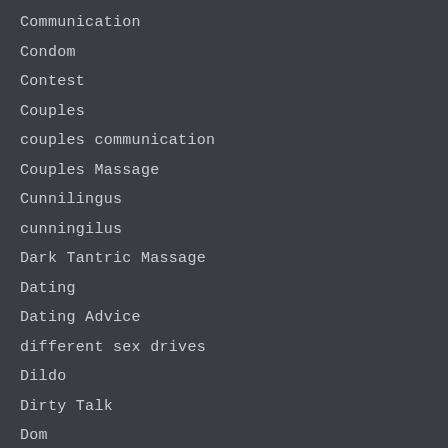Communication
Condom
Contest
Couples
couples communication
Couples Massage
Cunnilingus
cunningilus
Dark Tantric Massage
Dating
Dating Advice
different sex drives
Dildo
Dirty Talk
Dom
Elise
emotional safety
ENIGMA